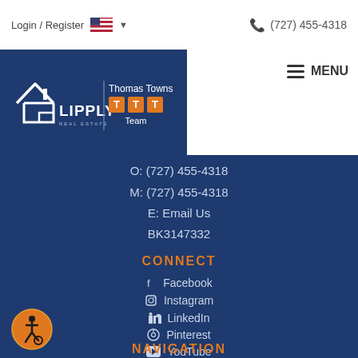Login / Register   🇺🇸 ▾        📞 (727) 455-4318
[Figure (logo): Lipply Real Estate | Thomas Towns TTT Team logo on dark blue background]
≡ MENU
O: (727) 455-4318
M: (727) 455-4318
E: Email Us
BK3147332
CONNECT
Facebook
Instagram
LinkedIn
Pinterest
YouTube
NAVIGATION